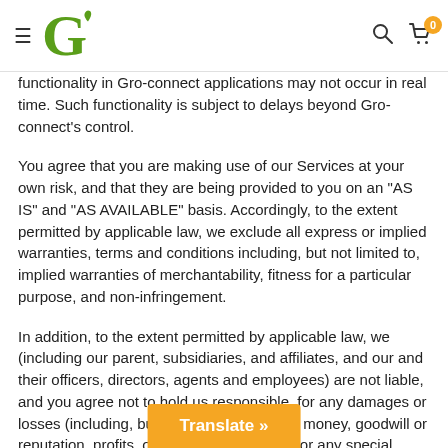Groconnect website header with logo, search, and cart icons
functionality in Gro-connect applications may not occur in real time. Such functionality is subject to delays beyond Gro-connect's control.
You agree that you are making use of our Services at your own risk, and that they are being provided to you on an "AS IS" and "AS AVAILABLE" basis. Accordingly, to the extent permitted by applicable law, we exclude all express or implied warranties, terms and conditions including, but not limited to, implied warranties of merchantability, fitness for a particular purpose, and non-infringement.
In addition, to the extent permitted by applicable law, we (including our parent, subsidiaries, and affiliates, and our and their officers, directors, agents and employees) are not liable, and you agree not to hold us responsible, for any damages or losses (including, but not limited to, loss of money, goodwill or reputation, profits, other intangible losses, or any special, indirect, or consequential damages) resulting directly or indirectly from: